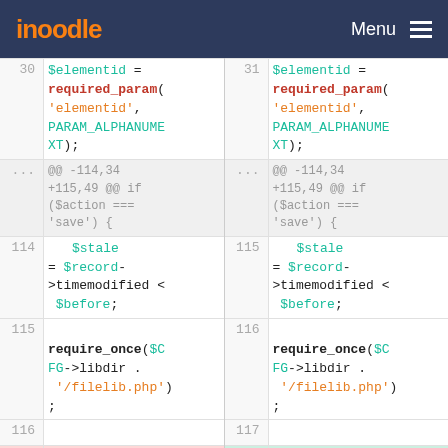moodle  Menu
[Figure (screenshot): Code diff view showing two columns of PHP code. Left column shows old code (lines 30, ..., 114, 115, 116, 117-) and right column shows new code (lines 31, ..., 115, 116, 117, 118+). Code includes $elementid = required_param('elementid', PARAM_ALPHANUMEXT);, a hunk header @@ -114,34 +115,49 @@ if ($action === 'save') {, then $stale = $record->timemodified < $before;, require_once($CFG->libdir . '/filelib.php');, line 117 shows deletion of // and line 118 shows addition of $fs =]